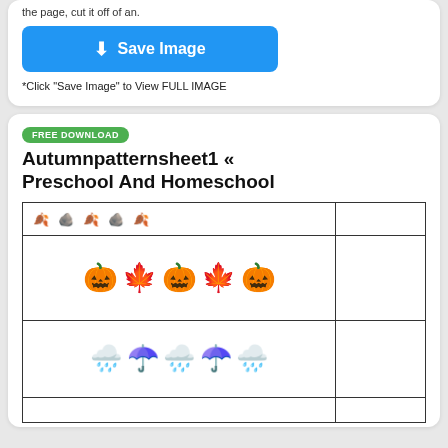the page, cut it off of an.
[Figure (screenshot): Blue 'Save Image' button with download icon]
*Click "Save Image" to View FULL IMAGE
FREE DOWNLOAD
Autumnpatternsheet1 « Preschool And Homeschool
[Figure (illustration): Pattern worksheet with autumn emojis: pumpkins and leaves alternating in row 1, rain clouds and umbrellas alternating in row 2. Header row shows small emoji pattern preview.]